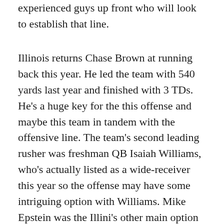experienced guys up front who will look to establish that line.
Illinois returns Chase Brown at running back this year. He led the team with 540 yards last year and finished with 3 TDs. He's a huge key for the this offense and maybe this team in tandem with the offensive line. The team's second leading rusher was freshman QB Isaiah Williams, who's actually listed as a wide-receiver this year so the offense may have some intriguing option with Williams. Mike Epstein was the Illini's other main option out of the backfield. He finished with 367 yards and 4 TD's last year and played the role of more of a 3rd down and back. Grad-transfer Chase Hayden (East Carolina) may leapfrog Epstein as the backup RB and I can see redshirt freshman Reggie Love III getting some